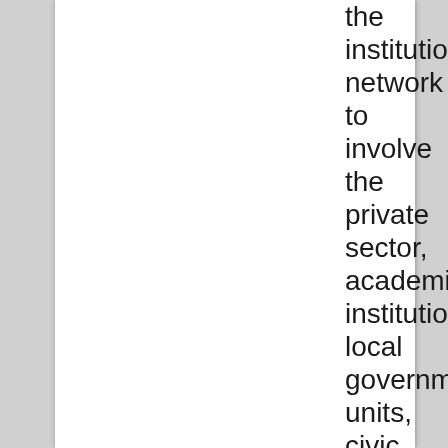the institutional network to involve the private sector, academic institutions, local government units, civic and non-government organizations in the implementation of